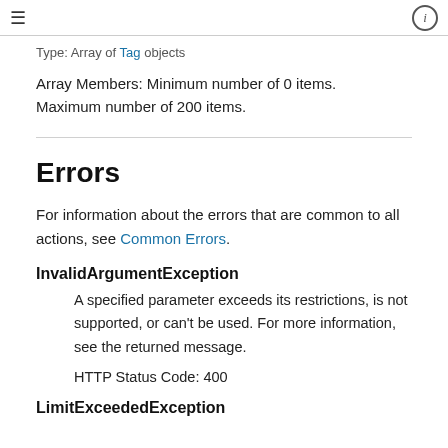≡  ⓘ
Type: Array of Tag objects
Array Members: Minimum number of 0 items. Maximum number of 200 items.
Errors
For information about the errors that are common to all actions, see Common Errors.
InvalidArgumentException
A specified parameter exceeds its restrictions, is not supported, or can't be used. For more information, see the returned message.
HTTP Status Code: 400
LimitExceededException